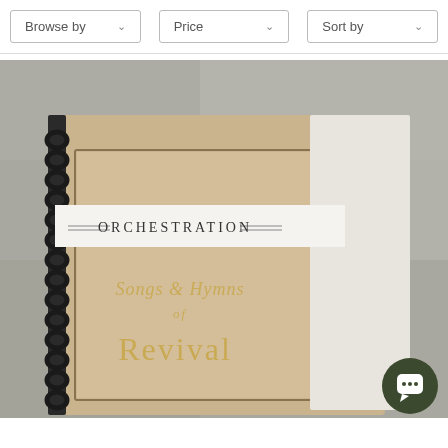Browse by
Price
Sort by
[Figure (photo): Spiral-bound orchestration book titled 'Songs & Hymns of Revival' with a white band label reading 'ORCHESTRATION', placed on a gray stone surface.]